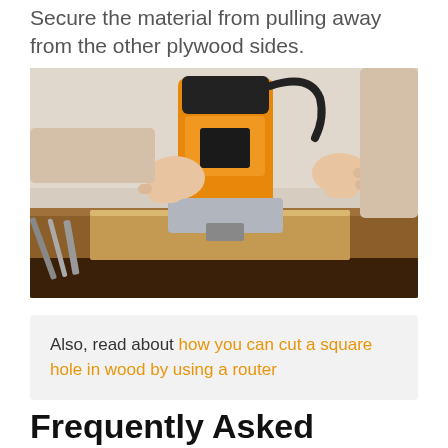Secure the material from pulling away from the other plywood sides.
[Figure (photo): Person using an orange and black electric wood router on a wooden plank, with woodworking tools visible in the background on a workbench]
Also, read about how you can cut a square hole in wood by using a router
Frequently Asked